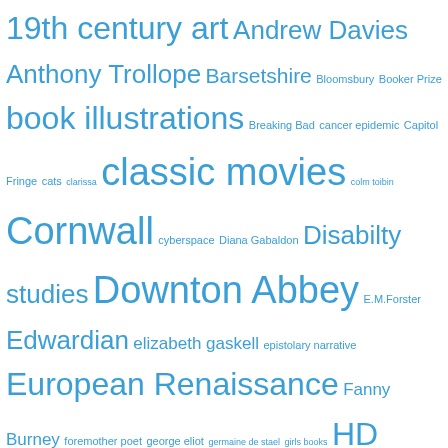[Figure (infographic): Tag cloud of literary, cultural, and academic topics in blue, with font size indicating frequency/importance. Tags include: 19th century art, Andrew Davies, Anthony Trollope, Barsetshire, Bloomsbury, Booker Prize, book illustrations, Breaking Bad, cancer epidemic, Capitol Fringe, cats, clarissa, classic movies, colm toibin, Cornwall, cyberspace, Diana Gabaldon, Disabilty studies, Downton Abbey, E.M.Forster, Edwardian, elizabeth gaskell, epistolary narrative, European Renaissance, Fanny Burney, foremother poet, george eliot, germaine de stael, girls books, HD opera, Helen Mirren, henry fielding, Henry James, heroine's text, history, Jeremy Brett, Jeremy Irons, Jill Townsend, Julian Fellowes, lesbianism, liberty, Maggie Smith, male violence, marital rape, mystery-murder book, Outlander, pallisers, post-]